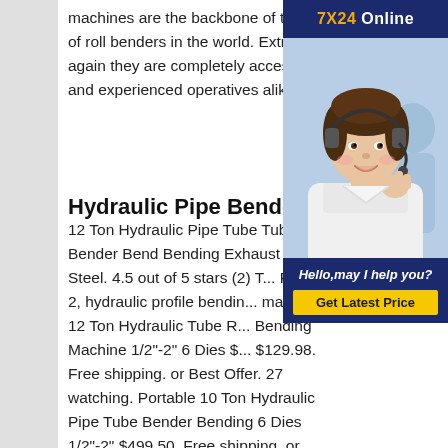machines are the backbone of the biggest selection of roll benders in the world. Extremely user-friendly, again they are completely accessible for apprentices and experienced operatives alike.
[Figure (photo): Chat widget with '7X24 Online' header in dark blue, photo of a woman with a headset smiling, dark blue footer with text 'Hello,may I help you?' and yellow 'Get Latest Price' button]
Hydraulic Pipe Benders for sale
12 Ton Hydraulic Pipe Tube Tubing Bender Bend Bending Exhaust 6 Dies Steel. 4.5 out of 5 stars (2) Total Ratings 2, hydraulic profile bending machine 12 Ton Hydraulic Tube R Bending Machine 1/2"-2" 6 Dies $... $129.98. Free shipping. or Best Offer. 27 watching. Portable 10 Ton Hydraulic Pipe Tube Bender Bending 6 Dies 1/2"-2" $499.50. Free shipping. or Best Offer.Hydraulic Bending Machine MC200H Prada NargesaHydraulic Section